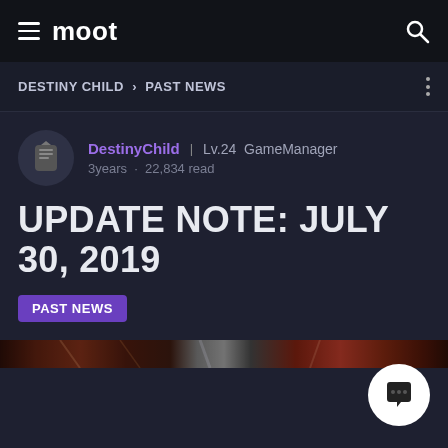moot
DESTINY CHILD > PAST NEWS
DestinyChild | Lv.24 GameManager
3years · 22,834 read
UPDATE NOTE: JULY 30, 2019
PAST NEWS
[Figure (photo): Decorative banner image with dark fantasy characters in red/dark tones]